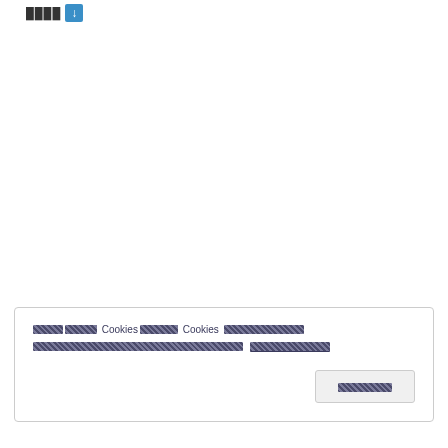[redacted text] [icon]
[redacted cookie notice text] Cookies [redacted] Cookies [redacted]
[redacted underlined link text]
[button: redacted]